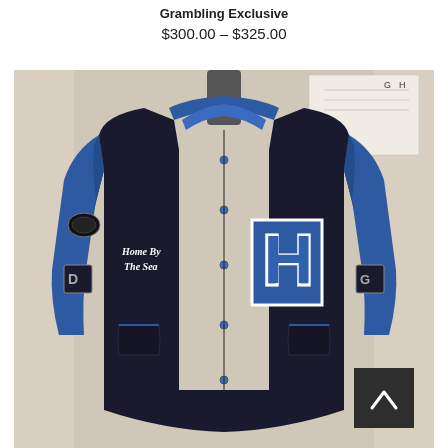Grambling Exclusive
$300.00 – $325.00
[Figure (photo): A black and blue varsity/letterman jacket displayed on a mannequin. The jacket has blue sleeves and black body, featuring a large 'H' letter on the right chest, script text reading 'Home By The Sea' on the left chest, snap button closure, and patches on the sleeves. A size tag '42' is visible at the collar, and a sizing chart is visible on the wall behind.]